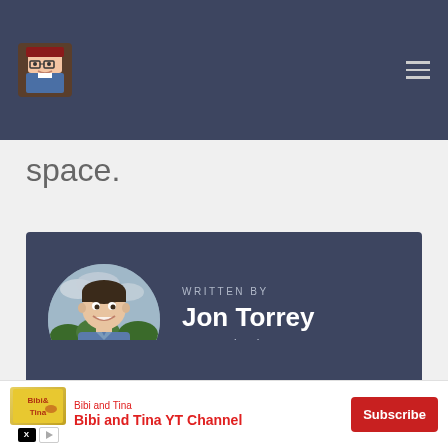space.
WRITTEN BY Jon Torrey NFT Enthusiast
[Figure (other): Bottom dark band / footer section of the website]
[Figure (other): Advertisement banner for Bibi and Tina YT Channel with Subscribe button]